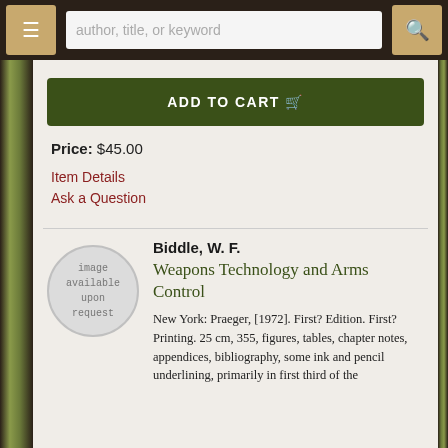[Figure (screenshot): Website navigation bar with hamburger menu button, search input field with placeholder 'author, title, or keyword', and search icon button]
ADD TO CART
Price: $45.00
Item Details
Ask a Question
[Figure (illustration): Circular grey placeholder image with text 'image available upon request']
Biddle, W. F.
Weapons Technology and Arms Control
New York: Praeger, [1972]. First? Edition. First? Printing. 25 cm, 355, figures, tables, chapter notes, appendices, bibliography, some ink and pencil underlining, primarily in first third of the